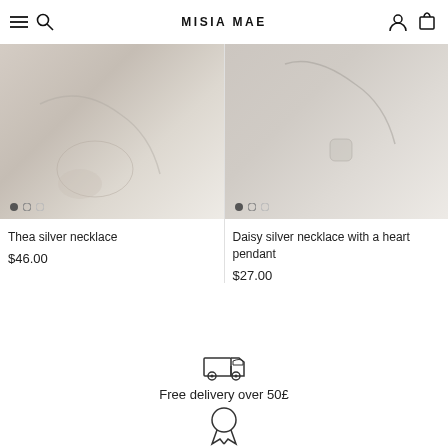Misia Mae
[Figure (photo): Thea silver necklace product photo on white fabric background]
Thea silver necklace
$46.00
[Figure (photo): Daisy silver necklace with a heart pendant product photo on white fabric background]
Daisy silver necklace with a heart pendant
$27.00
[Figure (illustration): Delivery truck icon]
Free delivery over 50£
[Figure (illustration): Quality badge / ribbon icon]